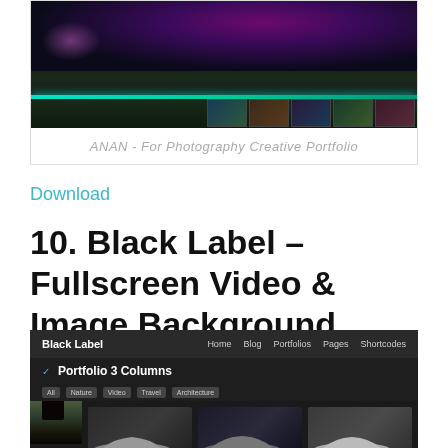[Figure (screenshot): ANAN photography creative portfolio website screenshot showing a dark cinematic landscape with glowing horizon and thumbnail strip]
ANAN - For Photography Creative Portfolio
Download
10. Black Label – Fullscreen Video & Image Background
[Figure (screenshot): Black Label WordPress theme screenshot showing dark portfolio page with 3-column car image grid, navigation bar with Home, Blog, Portfolios, Pages, Shortcodes links]